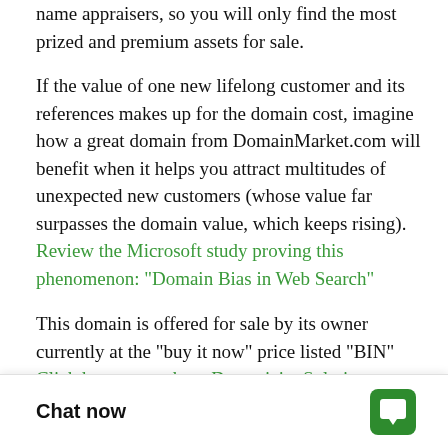name appraisers, so you will only find the most prized and premium assets for sale.
If the value of one new lifelong customer and its references makes up for the domain cost, imagine how a great domain from DomainMarket.com will benefit when it helps you attract multitudes of unexpected new customers (whose value far surpasses the domain value, which keeps rising). Review the Microsoft study proving this phenomenon: "Domain Bias in Web Search"
This domain is offered for sale by its owner currently at the "buy it now" price listed "BIN" Click here to purchase DownsizingSolutions.com, but could be withdrawn at any time or its price potentially substantially raised. Also, once sold, the next owner, your domain competi... again, especially to hi...